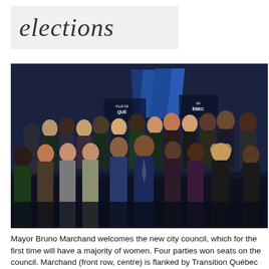elections
[Figure (photo): Group photo of Mayor Bruno Marchand with the new city council members, standing in front of blue flags with Ville de Québec logos, in a formal indoor setting.]
Mayor Bruno Marchand welcomes the new city council, which for the first time will have a majority of women. Four parties won seats on the council. Marchand (front row, centre) is flanked by Transition Québec leader Jackie Smith and Équipe Marie-Josée Savard leader Claude Villeneuve, who will act as leader of the opposition.